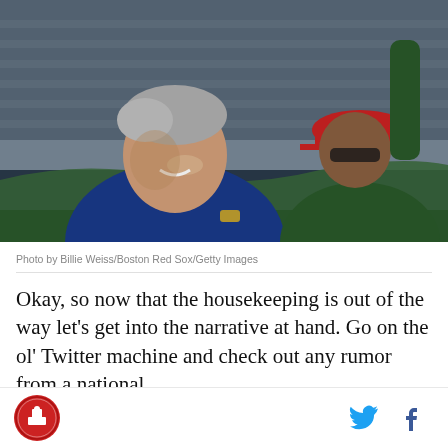[Figure (photo): A smiling older man in a blue jacket photographed at a baseball stadium, with another person in a red cap visible to his right. Green netting is visible in the foreground. Stadium seats visible in the background.]
Photo by Billie Weiss/Boston Red Sox/Getty Images
Okay, so now that the housekeeping is out of the way let's get into the narrative at hand. Go on the ol' Twitter machine and check out any rumor from a national
[Figure (logo): Circular red logo with a baseball-related graphic inside, likely a team or publication logo]
[Figure (logo): Twitter bird icon in blue]
[Figure (logo): Facebook 'f' logo in blue]